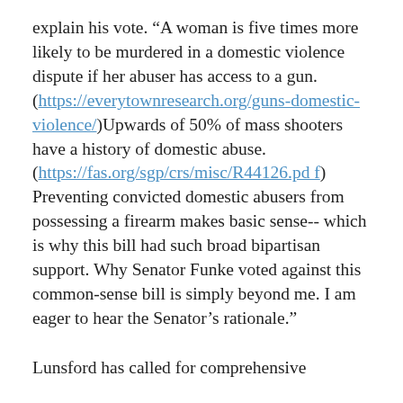explain his vote. “A woman is five times more likely to be murdered in a domestic violence dispute if her abuser has access to a gun. (https://everytownresearch.org/guns-domestic-violence/)Upwards of 50% of mass shooters have a history of domestic abuse. (https://fas.org/sgp/crs/misc/R44126.pdf) Preventing convicted domestic abusers from possessing a firearm makes basic sense-- which is why this bill had such broad bipartisan support. Why Senator Funke voted against this common-sense bill is simply beyond me. I am eager to hear the Senator’s rationale.”
Lunsford has called for comprehensive